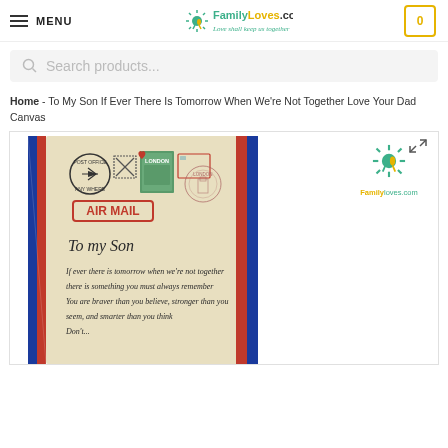MENU | FamilyLoves.com - Love shall keep us together | Cart: 0
Search products...
Home - To My Son If Ever There Is Tomorrow When We're Not Together Love Your Dad Canvas
[Figure (photo): Product photo of an air mail canvas featuring 'To my Son' letter with decorative stamps, airplane postmark, 'AIR MAIL' label, and handwritten-style text with the message about being brave, strong, and smart. Canvas has blue and red border stripe pattern.]